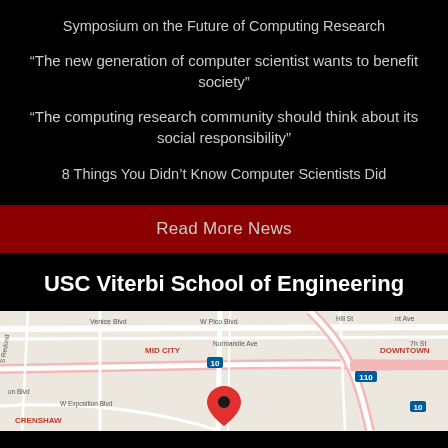Symposium on the Future of Computing Research
“The new generation of computer scientist wants to benefit society”
“The computing research community should think about its social responsibility”
8 Things You Didn’t Know Computer Scientists Did
Read More News
USC Viterbi School of Engineering
[Figure (map): Google map showing USC Viterbi School of Engineering location in Los Angeles, with streets including Venice Blvd, W Pico Blvd, Normandie Ave, and highways 10 and 110. Areas labeled include Mid City, Downtown, Crenshaw. A red location pin marks the school.]